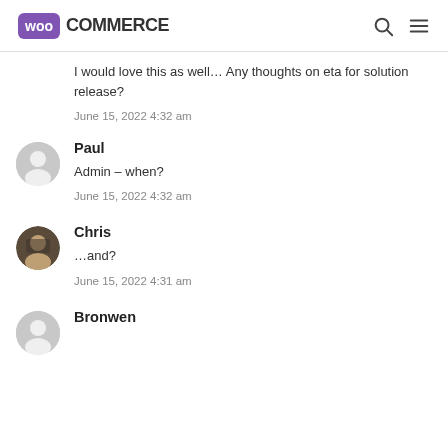WooCommerce
I would love this as well… Any thoughts on eta for solution release?
June 15, 2022 4:32 am
Paul
Admin – when?
June 15, 2022 4:32 am
Chris
…and?
June 15, 2022 4:31 am
Bronwen